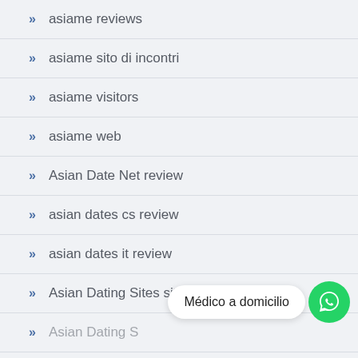asiame reviews
asiame sito di incontri
asiame visitors
asiame web
Asian Date Net review
asian dates cs review
asian dates it review
Asian Dating Sites site
Asian Dating S…
Médico a domicilio